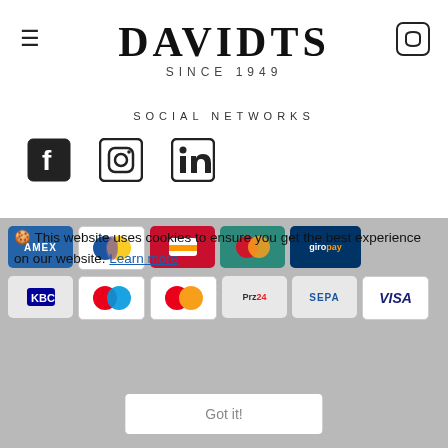DAVIDTS SINCE 1949
SOCIAL NETWORKS
[Figure (illustration): Social media icons: Facebook, Instagram, LinkedIn]
© 2022 Davidts |
[Figure (infographic): Cookie consent overlay with payment logos (AMEX, Maestro, Bancontact, Mastercard, giropay, KBC, Maestro, Mastercard, Przelewy24, SEPA, VISA) and cookie notice text: This website uses cookies to ensure you get the best experience on our website. Learn more. Got it!]